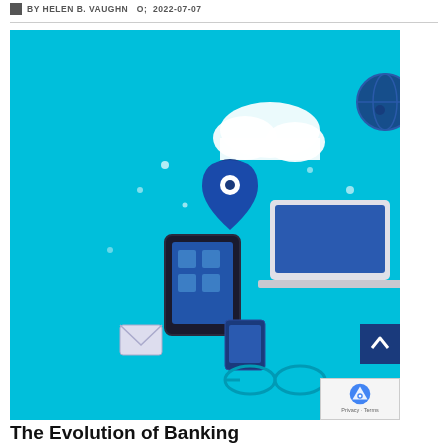BY HELEN B. VAUGHN  2022-07-07
[Figure (illustration): Blue-themed digital banking illustration showing a laptop, tablet, smartphone, location pin, cloud, fingerprint lock, and connectivity icons on a bright cyan/turquoise background, representing digital financial technology and online banking evolution.]
The Evolution of Banking